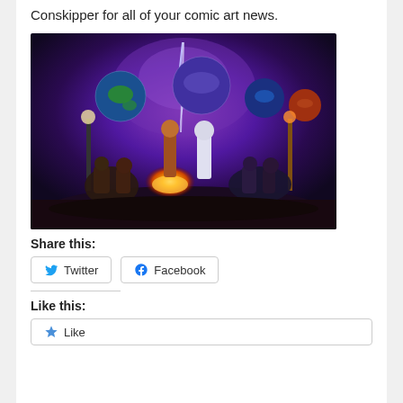Conskipper for all of your comic art news.
[Figure (illustration): A fantasy/comic art illustration showing a group of characters (heroes and villains) gathered around a fire, with planets and a cosmic purple sky in the background. Two lamp posts flank the scene.]
Share this:
Twitter
Facebook
Like this:
Like